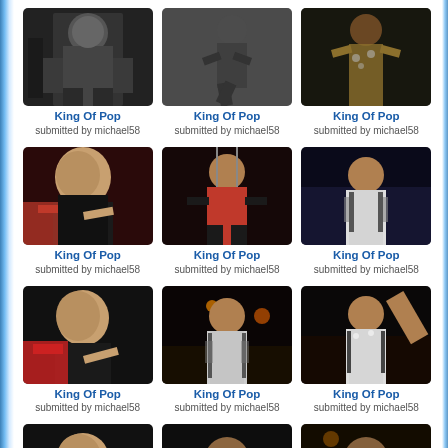[Figure (photo): Black and white photo of Michael Jackson performing]
King Of Pop
submitted by michael58
[Figure (photo): Black and white photo of Michael Jackson dancing]
King Of Pop
submitted by michael58
[Figure (photo): Color photo of Michael Jackson in sparkly outfit performing]
King Of Pop
submitted by michael58
[Figure (photo): Color photo of Michael Jackson in red jacket close-up]
King Of Pop
submitted by michael58
[Figure (photo): Color photo of Michael Jackson in red jacket on wires]
King Of Pop
submitted by michael58
[Figure (photo): Color photo of Michael Jackson in white/striped outfit on stage]
King Of Pop
submitted by michael58
[Figure (photo): Color photo of Michael Jackson with pink shirt close-up]
King Of Pop
submitted by michael58
[Figure (photo): Color photo of Michael Jackson performing on stage with lights]
King Of Pop
submitted by michael58
[Figure (photo): Color photo of Michael Jackson with arm raised on stage]
King Of Pop
submitted by michael58
[Figure (photo): Partial photo at bottom left]
[Figure (photo): Partial photo at bottom center]
[Figure (photo): Partial photo at bottom right]